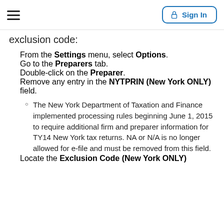exclusion code:
From the Settings menu, select Options.
Go to the Preparers tab.
Double-click on the Preparer.
Remove any entry in the NYTPRIN (New York ONLY) field.
The New York Department of Taxation and Finance implemented processing rules beginning June 1, 2015 to require additional firm and preparer information for TY14 New York tax returns. NA or N/A is no longer allowed for e-file and must be removed from this field.
Locate the Exclusion Code (New York ONLY)